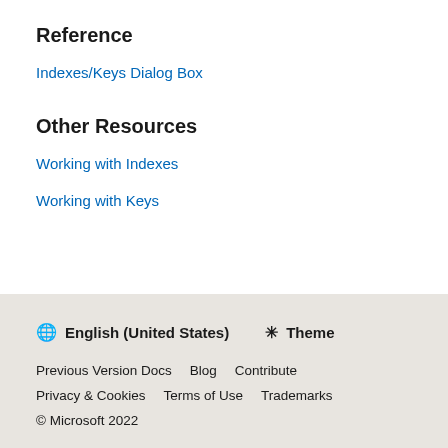Reference
Indexes/Keys Dialog Box
Other Resources
Working with Indexes
Working with Keys
🌐 English (United States)  ☀ Theme  Previous Version Docs  Blog  Contribute  Privacy & Cookies  Terms of Use  Trademarks  © Microsoft 2022